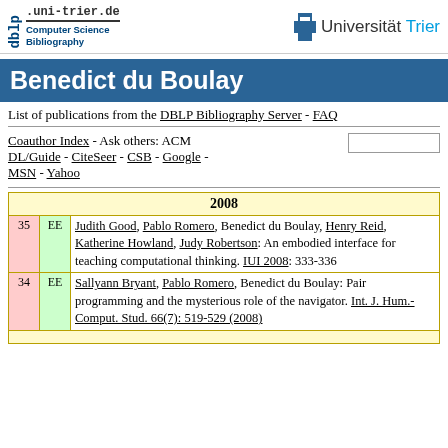dblp.uni-trier.de Computer Science Bibliography | Universität Trier
Benedict du Boulay
List of publications from the DBLP Bibliography Server - FAQ
Coauthor Index - Ask others: ACM DL/Guide - CiteSeer - CSB - Google - MSN - Yahoo
|  | 2008 |
| --- | --- |
| 35 | EE | Judith Good, Pablo Romero, Benedict du Boulay, Henry Reid, Katherine Howland, Judy Robertson: An embodied interface for teaching computational thinking. IUI 2008: 333-336 |
| 34 | EE | Sallyann Bryant, Pablo Romero, Benedict du Boulay: Pair programming and the mysterious role of the navigator. Int. J. Hum.-Comput. Stud. 66(7): 519-529 (2008) |